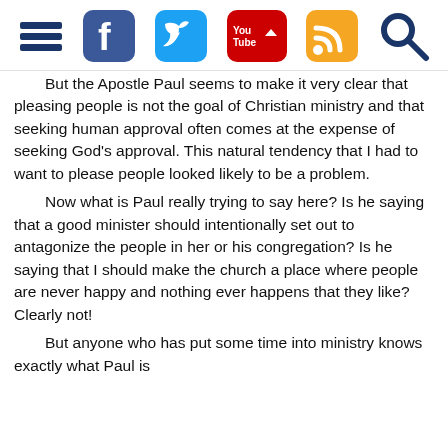[Social media navigation bar with hamburger menu, Facebook, Twitter, YouTube, RSS, and Search icons]
But the Apostle Paul seems to make it very clear that pleasing people is not the goal of Christian ministry and that seeking human approval often comes at the expense of seeking God's approval. This natural tendency that I had to want to please people looked likely to be a problem.

Now what is Paul really trying to say here? Is he saying that a good minister should intentionally set out to antagonize the people in her or his congregation? Is he saying that I should make the church a place where people are never happy and nothing ever happens that they like? Clearly not!

But anyone who has put some time into ministry knows exactly what Paul is